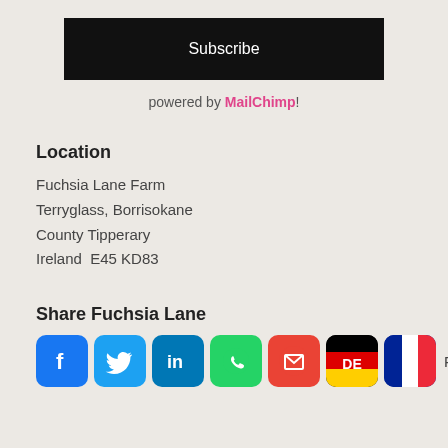Subscribe
powered by MailChimp!
Location
Fuchsia Lane Farm
Terryglass, Borrisokane
County Tipperary
Ireland  E45 KD83
Share Fuchsia Lane
[Figure (infographic): Row of social media share icons: Facebook, Twitter, LinkedIn, WhatsApp, Gmail, DE (Germany flag), FR (France flag), ES (Spain flag circle)]